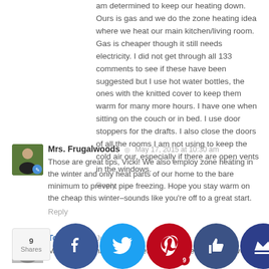am determined to keep our heating down. Ours is gas and we do the zone heating idea where we heat our main kitchen/living room. Gas is cheaper though it still needs electricity. I did not get through all 133 comments to see if these have been suggested but I use hot water bottles, the ones with the knitted cover to keep them warm for many more hours. I have one when sitting on the couch or in bed. I use door stoppers for the drafts. I also close the doors of all the rooms I am not using to keep the cold air our, especially if there are open vents in the windows.
Reply
Mrs. Frugalwoods  May 17, 2015 at 10:30 am
Those are great tips, Vicki! We also employ zone heating in the winter and only heat parts of our home to the bare minimum to prevent pipe freezing. Hope you stay warm on the cheap this winter–sounds like you're off to a great start.
Reply
Tom ttier  Jun 1, 2015 at am
M from Cana – I me Refl r simila se velcro t it over